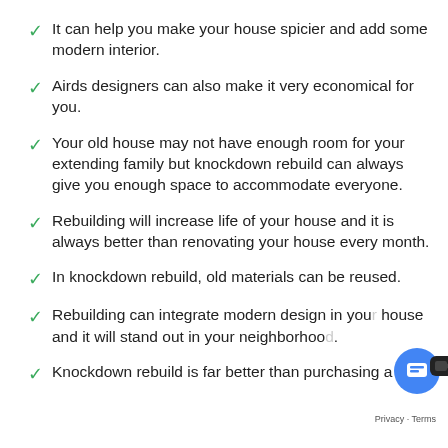It can help you make your house spicier and add some modern interior.
Airds designers can also make it very economical for you.
Your old house may not have enough room for your extending family but knockdown rebuild can always give you enough space to accommodate everyone.
Rebuilding will increase life of your house and it is always better than renovating your house every month.
In knockdown rebuild, old materials can be reused.
Rebuilding can integrate modern design in your house and it will stand out in your neighborhood.
Knockdown rebuild is far better than purchasing a